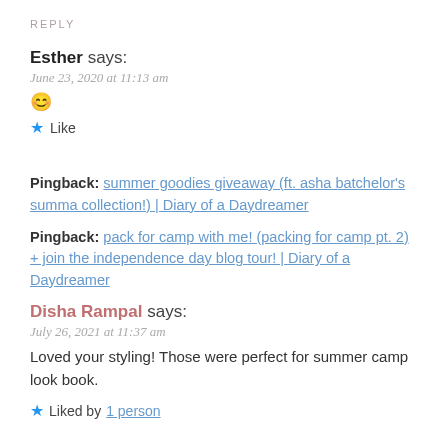REPLY
Esther says:
June 23, 2020 at 11:13 am
😊
★ Like
Pingback: summer goodies giveaway (ft. asha batchelor's summa collection!) | Diary of a Daydreamer
Pingback: pack for camp with me! (packing for camp pt. 2) + join the independence day blog tour! | Diary of a Daydreamer
Disha Rampal says:
July 26, 2021 at 11:37 am
Loved your styling! Those were perfect for summer camp look book.
★ Liked by 1 person